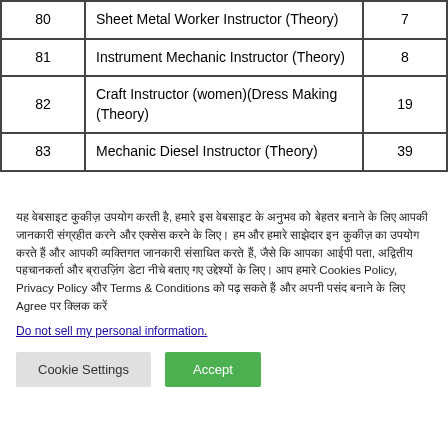| No. | Post Name | Vacancies |
| --- | --- | --- |
| 80 | Sheet Metal Worker Instructor (Theory) | 7 |
| 81 | Instrument Mechanic Instructor (Theory) | 8 |
| 82 | Craft Instructor (women)(Dress Making (Theory) | 19 |
| 83 | Mechanic Diesel Instructor (Theory) | 39 |
यह वेबसाइट कुकीज़ उपयोग करती है, हमारे इस वेबसाइट के अनुभव को बेहतर बनाने के लिए आपकी जानकारी संग्रहीत करने और एक्सेस करने के लिए। हम और हमारे साझेदार इन कुकीज़ का उपयोग करते हैं और आपकी व्यक्तिगत जानकारी संसाधित करते हैं, जैसे कि आपका आईपी पता, अद्वितीय पहचानकर्ता और ब्राउज़िंग डेटा नीचे बताए गए उद्देश्यों के लिए। आप हमारे Cookies Policy, Privacy Policy और Terms & Conditions को पढ़ सकते हैं और अपनी पसंद बनाने के लिए Agree पर क्लिक करें
Do not sell my personal information.
Cookie Settings | Accept